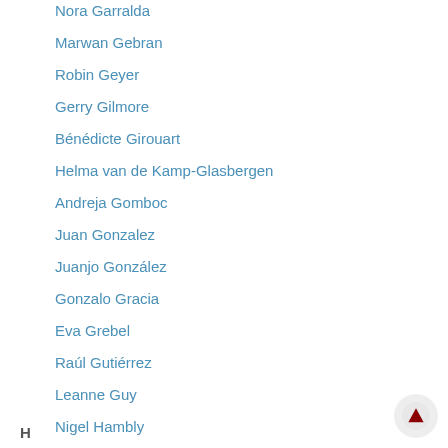Nora Garralda
Marwan Gebran
Robin Geyer
Gerry Gilmore
Bénédicte Girouart
Helma van de Kamp-Glasbergen
Andreja Gomboc
Juan Gonzalez
Juanjo González
Gonzalo Gracia
Eva Grebel
Raúl Gutiérrez
Leanne Guy
H
Nigel Hambly
Bernd Harnisch
Peter Hauschildt
Aurélien Hees
Ulrike Heiter
Cosmas Heller
Amina Helmi
José Hernández
Daniel Hestroffer
Natalia Hladczuk
John Hoar
David Hobbs
Erik Høg